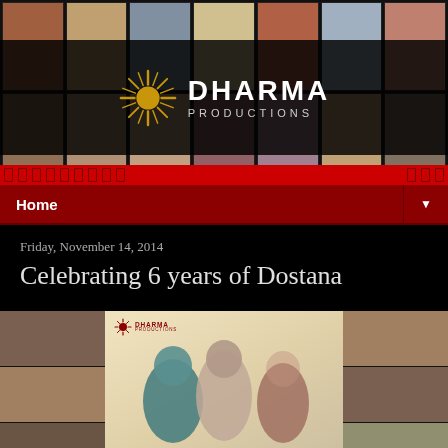[Figure (photo): Header photo collage of multiple Bollywood movie stills with Dharma Productions logo overlay on dark background]
Home
Friday, November 14, 2014
Celebrating 6 years of Dostana
[Figure (photo): Dostana movie poster showing three actors (two men and one woman) with Dharma Productions watermark, flanked by small photo collages on both sides]